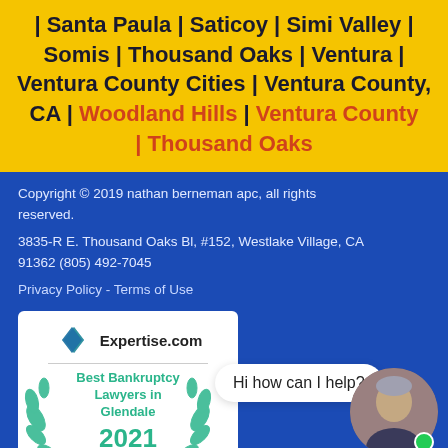| Santa Paula | Saticoy | Simi Valley | Somis | Thousand Oaks | Ventura | Ventura County Cities | Ventura County, CA | Woodland Hills | Ventura County | Thousand Oaks
Copyright © 2019 nathan berneman apc, all rights reserved.
3835-R E. Thousand Oaks Bl, #152, Westlake Village, CA 91362 (805) 492-7045
Privacy Policy - Terms of Use
[Figure (logo): Expertise.com badge - Best Bankruptcy Lawyers in Glendale 2021, with teal laurel wreath and diamond logo]
Hi how can I help?
[Figure (photo): Portrait photo of a middle-aged man in a suit, circular avatar with green online indicator dot]